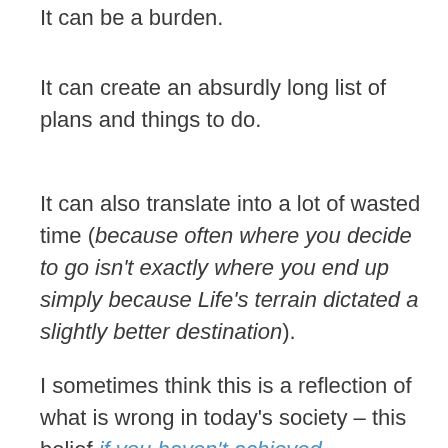It can be a burden.
It can create an absurdly long list of plans and things to do.
It can also translate into a lot of wasted time (because often where you decide to go isn't exactly where you end up simply because Life's terrain dictated a slightly better destination).
I sometimes think this is a reflection of what is wrong in today's society – this belief if you haven't achieved something